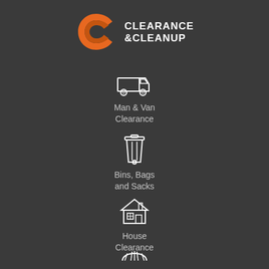[Figure (logo): Clearance & Cleanup logo with orange C spiral icon and white bold text]
[Figure (illustration): White outline icon of a delivery/removal van truck]
Man & Van Clearance
[Figure (illustration): White outline icon of a wheeled rubbish bin/wheelie bin]
Bins, Bags and Sacks
[Figure (illustration): White outline icon of a house with chimney and window]
House Clearance
[Figure (illustration): White outline icon partially visible at bottom, appears to be another service icon]